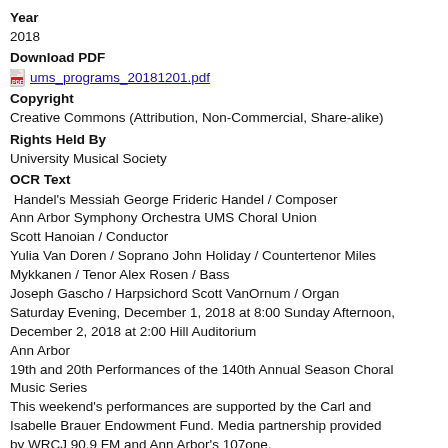Year
2018
Download PDF
ums_programs_20181201.pdf
Copyright
Creative Commons (Attribution, Non-Commercial, Share-alike)
Rights Held By
University Musical Society
OCR Text
Handel's Messiah George Frideric Handel / Composer Ann Arbor Symphony Orchestra UMS Choral Union Scott Hanoian / Conductor Yulia Van Doren / Soprano John Holiday / Countertenor Miles Mykkanen / Tenor Alex Rosen / Bass Joseph Gascho / Harpsichord Scott VanOrnum / Organ Saturday Evening, December 1, 2018 at 8:00 Sunday Afternoon, December 2, 2018 at 2:00 Hill Auditorium Ann Arbor 19th and 20th Performances of the 140th Annual Season Choral Music Series This weekend's performances are supported by the Carl and Isabelle Brauer Endowment Fund. Media partnership provided by WRCJ 90.9 FM and Ann Arbor's 107one. Special thanks to Steven Lorenz, Cheryl Valentine, Stephen